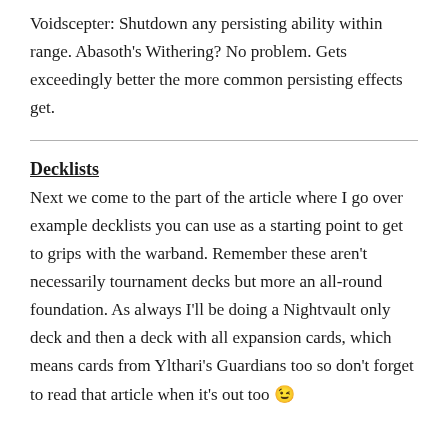Voidscepter: Shutdown any persisting ability within range. Abasoth's Withering? No problem. Gets exceedingly better the more common persisting effects get.
Decklists
Next we come to the part of the article where I go over example decklists you can use as a starting point to get to grips with the warband. Remember these aren't necessarily tournament decks but more an all-round foundation. As always I'll be doing a Nightvault only deck and then a deck with all expansion cards, which means cards from Ylthari's Guardians too so don't forget to read that article when it's out too 😉